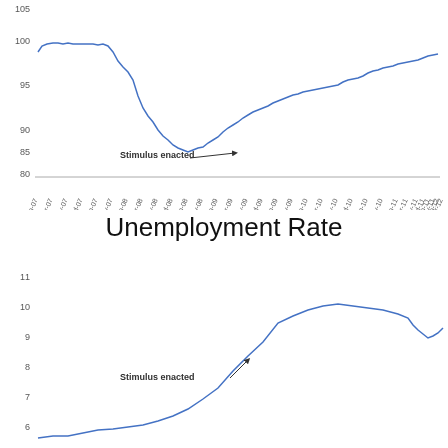[Figure (continuous-plot): Line chart showing an index (y-axis 80-105) from Jan-07 to Mar-12. Line starts near 98, rises to ~100-101 peak around mid-2007, drops sharply to ~83 trough around mid-2009 (annotated 'Stimulus enacted'), then rises gradually to ~97 by Mar-12. Horizontal reference line at 80.]
Unemployment Rate
[Figure (continuous-plot): Line chart showing unemployment rate (y-axis 6-11) from approximately Jan-07 to Mar-12 (partial view). Line starts low around 6, rises steeply from mid-2008, peaks near 10 around late 2009 (annotated 'Stimulus enacted'), then declines to about 8.2 by Mar-12.]